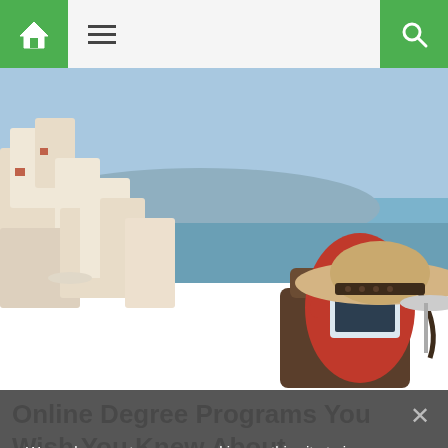Navigation bar with home icon, hamburger menu, and search icon
[Figure (photo): Woman in red dress and wide-brim straw hat with polka-dot ribbon, sitting in a wicker chair, looking at a tablet, with the white buildings and blue sea of Santorini in the background]
Online Degree Programs You Wish You Knew About.
Online Degree | Search Ads | Sponsored
We and our partners use cookies on this site to improve our service, perform analytics, personalize advertising, measure advertising performance, and remember website preferences.
Ok